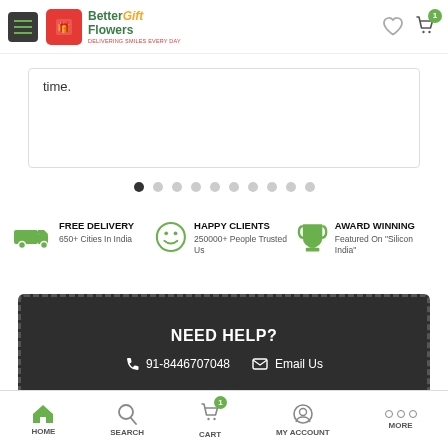[Figure (screenshot): Mobile app header with hamburger menu, BetterFlowers Gift logo, heart icon, and cart icon with badge showing 1]
time.
[Figure (other): Carousel pagination dots, first dot active]
FREE DELIVERY
650+ Cities In India
HAPPY CLIENTS
250000+ People Trusted Us
AWARD WINNING
Featured On "Silicon India"
NEED HELP?
📞 91-8446707048   ✉ Email Us
[Figure (screenshot): Bottom navigation bar with HOME, SEARCH, CART (badge 1), MY ACCOUNT, MORE]